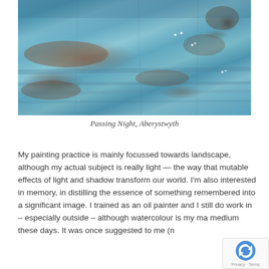[Figure (photo): Abstract painting in blue and rust/brown tones depicting a landscape. The image is dominated by muted teal and blue washes with horizontal streaks and patches of reddish-brown earthy tones suggesting a landscape or seascape. Small white dots are scattered across the surface.]
Passing Night, Aberystwyth
My painting practice is mainly focussed towards landscape, although my actual subject is really light — the way that mutable effects of light and shadow transform our world. I'm also interested in memory, in distilling the essence of something remembered into a significant image. I trained as an oil painter and I still do work in – especially outside – although watercolour is my ma medium these days. It was once suggested to me (n